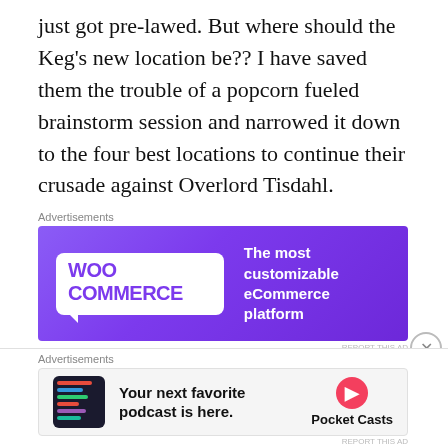just got pre-lawed. But where should the Keg's new location be?? I have saved them the trouble of a popcorn fueled brainstorm session and narrowed it down to the four best locations to continue their crusade against Overlord Tisdahl.
[Figure (other): WooCommerce advertisement banner: purple gradient background with WooCommerce logo on the left (white speech bubble with 'WOO COMMERCE' text in purple) and tagline 'The most customizable eCommerce platform' in white bold text on the right.]
Sheil Catholic Center
I've only been to this mysterious place once when I tagged along with the notoriously upstanding Sir Edward Twattingworth III as he gave blood. This establishment has the uncoziness of a midwestern retirement home and the
[Figure (other): Pocket Casts advertisement banner: light gray background with a dark screenshot thumbnail on the left, bold text 'Your next favorite podcast is here.' in the center, and the Pocket Casts logo (orange circular icon) with 'Pocket Casts' text on the right.]